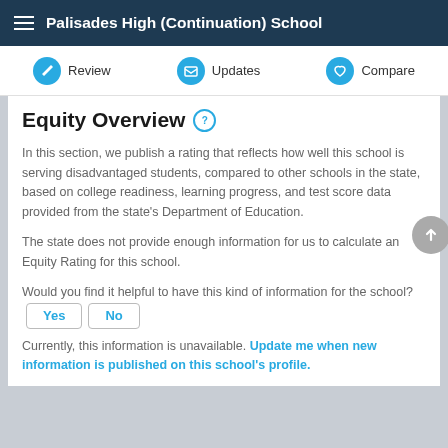Palisades High (Continuation) School
Review   Updates   Compare
Equity Overview
In this section, we publish a rating that reflects how well this school is serving disadvantaged students, compared to other schools in the state, based on college readiness, learning progress, and test score data provided from the state's Department of Education.
The state does not provide enough information for us to calculate an Equity Rating for this school.
Would you find it helpful to have this kind of information for the school? Yes  No
Currently, this information is unavailable. Update me when new information is published on this school's profile.